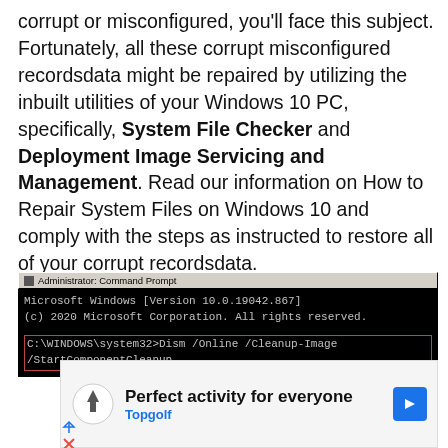corrupt or misconfigured, you'll face this subject. Fortunately, all these corrupt misconfigured recordsdata might be repaired by utilizing the inbuilt utilities of your Windows 10 PC, specifically, System File Checker and Deployment Image Servicing and Management. Read our information on How to Repair System Files on Windows 10 and comply with the steps as instructed to restore all of your corrupt recordsdata.
[Figure (screenshot): Administrator Command Prompt window showing Microsoft Windows Version 10.0.19042.867, copyright 2020 Microsoft Corporation, and the command: C:\WINDOWS\system32>Dism /Online /Cleanup-Image /StartComponentCleanup highlighted with a red border]
[Figure (other): Advertisement for Topgolf: 'Perfect activity for everyone' with Topgolf logo and navigation arrow icon]